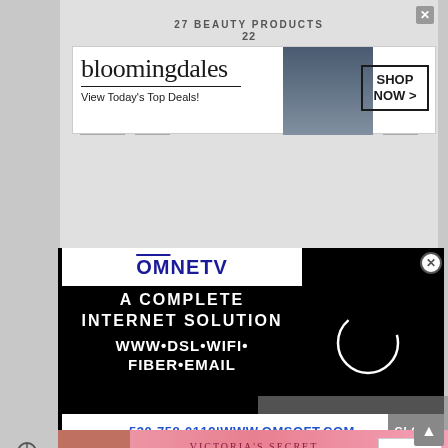[Figure (screenshot): Screenshot of a webpage with multiple advertisements. Top ad: Bloomingdale's banner ad 'View Today's Top Deals!' with a woman in a wide-brim hat, and a 'SHOP NOW >' button. Background shows '27 BEAUTY PRODUCTS ... YOURSELF' text with product images. Middle ad: OMNETV/OMSOFT.COM ad on black background with white text: 'A COMPLETE INTERNET SOLUTION WWW•DSL•WIFI•FIBER•EMAIL 530-758-0119|WWW.OMSOFT.COM' with a loading circle and CLOSE button. Bottom ad: Victoria's Secret pink banner 'SHOP THE COLLECTION' with 'SHOP NOW' button.]